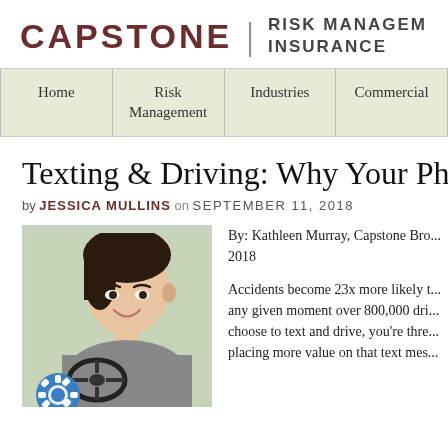[Figure (logo): Capstone Risk Management Insurance logo with name and divider]
[Figure (other): Navigation bar with Home, Risk Management, Industries, Commercial menu items]
Texting & Driving: Why Your Phone Can...
by JESSICA MULLINS on SEPTEMBER 11, 2018
[Figure (photo): Young woman smiling while sitting in driver seat of a car, with a gear/settings icon overlay at bottom left]
By: Kathleen Murray, Capstone Bro... 2018
Accidents become 23x more likely t... any given moment over 800,000 dri... choose to text and drive, you're thre... placing more value on that text mes...